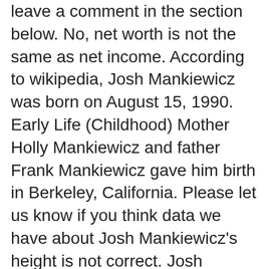leave a comment in the section below. No, net worth is not the same as net income. According to wikipedia, Josh Mankiewicz was born on August 15, 1990. Early Life (Childhood) Mother Holly Mankiewicz and father Frank Mankiewicz gave him birth in Berkeley, California. Please let us know if you think data we have about Josh Mankiewicz's height is not correct. Josh Mankiewicz Wiki: Salary, Married, Wedding, Spouse, Family Joshua Paul "Josh" Mankiewicz (born August 27, 1955) is an American journalist, who has been reporting for Dateline NBC since 1995. During the Monday, March 9 edition of "The Kelly Clarkson Show," the titular host will perform a cover of Selena Gomez's "Lose You To Love Me." Ben is currently 53 years old. Josh Mankiewicz salary income and net worth data provided by People Ai provides an estimation for any internet celebrity's real salary income and net worth like Josh Mankiewicz based on real numbers. There are rec... https://t.co/E1OnsEZIYh, RT @NPR: NEW: The Supreme Court has rejected a request by Democrats that would have extended the deadline for counting mail-... https://t.co/sHP3np1kCv. Talking about Ben's siblings, he has an older brother named Josh Mankiewicz, who is an American journalist. He was born A 5...